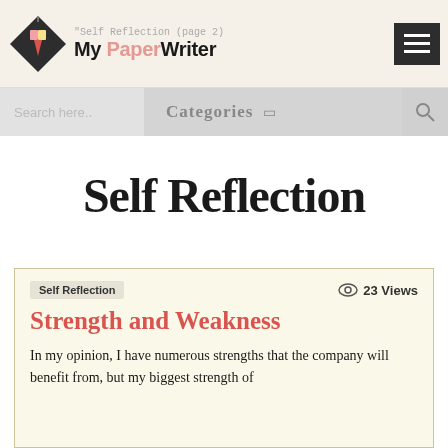My PaperWriter — Self Reflection (page 2)
Categories
Self Reflection
Self Reflection | 23 Views
Strength and Weakness
In my opinion, I have numerous strengths that the company will benefit from, but my biggest strength of